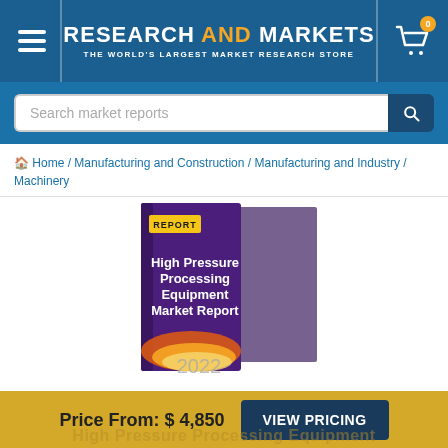RESEARCH AND MARKETS — THE WORLD'S LARGEST MARKET RESEARCH STORE
Search market reports
Home / Manufacturing and Construction / Manufacturing and Industry / Machinery
[Figure (illustration): 3D book cover for 'High Pressure Processing Equipment Market Report 2022' with a dark purple background, orange REPORT label, and colorful flame/wave design at the bottom.]
Price From: $ 4,850
VIEW PRICING